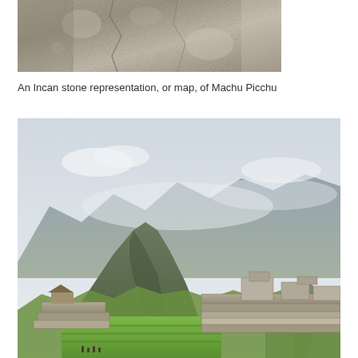[Figure (photo): Close-up photo of a rough stone surface, showing an Incan stone representation or map of Machu Picchu]
An Incan stone representation, or map, of Machu Picchu
[Figure (photo): Panoramic photo of Machu Picchu ruins with Huayna Picchu mountain in the background, surrounded by green mountains and ancient stone terraces and structures]